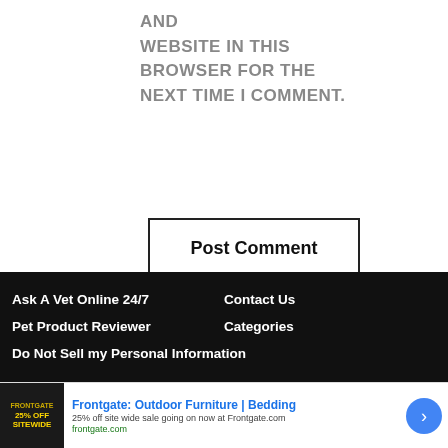AND WEBSITE IN THIS BROWSER FOR THE NEXT TIME I COMMENT.
Post Comment
Ask A Vet Online 24/7
Contact Us
Pet Product Reviewer
Categories
Do Not Sell my Personal Information
[Figure (screenshot): Advertisement banner for Frontgate: Outdoor Furniture | Bedding. Shows '25% OFF SITEWIDE' promotional image on left, ad text '25% off site wide sale going on now at Frontgate.com' and 'frontgate.com' in middle, close button and navigation arrow on right.]